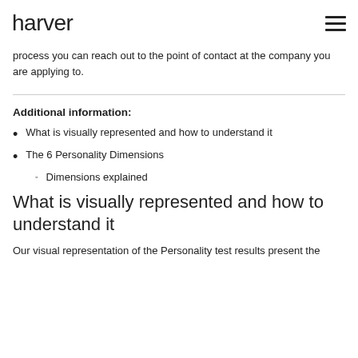harver
process you can reach out to the point of contact at the company you are applying to.
Additional information:
What is visually represented and how to understand it
The 6 Personality Dimensions
Dimensions explained
What is visually represented and how to understand it
Our visual representation of the Personality test results present the